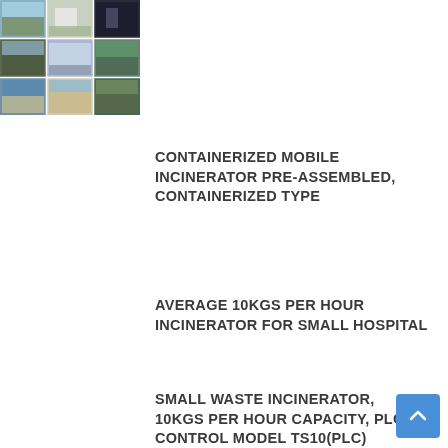[Figure (photo): Grid of photos showing containerized mobile incinerator units in various outdoor/field settings]
CONTAINERIZED MOBILE INCINERATOR PRE-ASSEMBLED, CONTAINERIZED TYPE
AVERAGE 10KGS PER HOUR INCINERATOR FOR SMALL HOSPITAL
SMALL WASTE INCINERATOR, 10KGS PER HOUR CAPACITY, PLC CONTROL MODEL TS10(PLC)